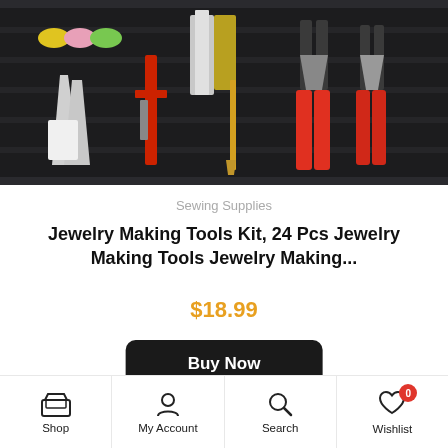[Figure (photo): Jewelry making tools kit laid out in a black zippered case, including pliers with red handles, knives, calipers, wire spools, and other tools]
Sewing Supplies
Jewelry Making Tools Kit, 24 Pcs Jewelry Making Tools Jewelry Making...
$18.99
Buy Now
[Figure (photo): Colorful beads in compartments — reds, pinks, teals, and greens]
Shop  My Account  Search  Wishlist